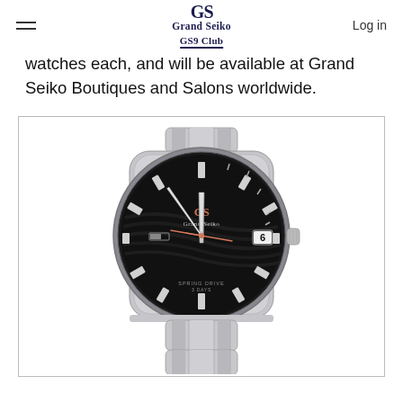Grand Seiko GS9 Club | Log in
watches each, and will be available at Grand Seiko Boutiques and Salons worldwide.
[Figure (photo): Grand Seiko watch with black dial, silver stainless steel case and bracelet, Spring Drive movement, featuring the GS logo in pink/rose gold, silver hour markers and hands, a pink seconds hand, date window at 3 o'clock, and 'SPRING DRIVE 3 DAYS' text at the bottom of the dial.]